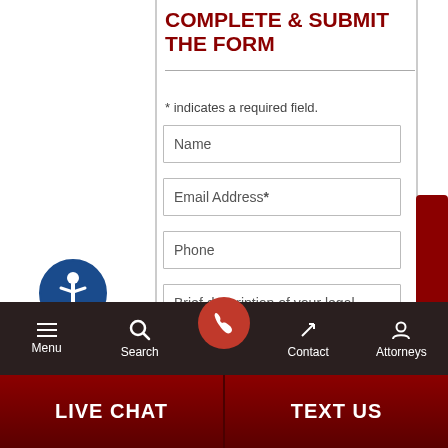COMPLETE & SUBMIT THE FORM
* indicates a required field.
Name
Email Address*
Phone
Brief description of your legal issue
[Figure (other): Accessibility icon - circle with person/wheelchair symbol in blue]
[Figure (other): Contact Us vertical red side tab]
Menu  Search  [phone button]  Contact  Attorneys
LIVE CHAT  TEXT US